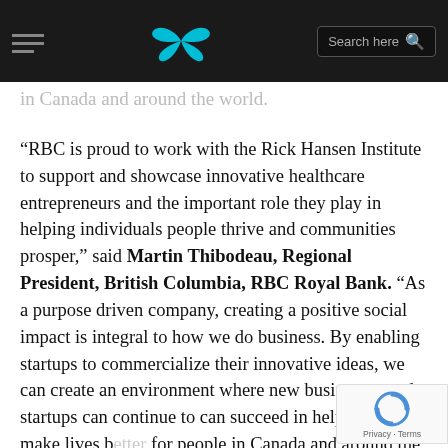Navigation bar with hamburger menu, butterfly logo, and search box
in Canada and around the world.
“RBC is proud to work with the Rick Hansen Institute to support and showcase innovative healthcare entrepreneurs and the important role they play in helping individuals people thrive and communities prosper,” said Martin Thibodeau, Regional President, British Columbia, RBC Royal Bank. “As a purpose driven company, creating a positive social impact is integral to how we do business. By enabling startups to commercialize their innovative ideas, we can create an environment where new businesses and startups can continue to can succeed in helping to make lives better for people in Canada and around the world.”